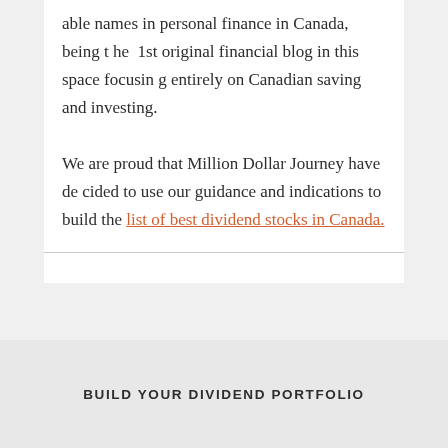able names in personal finance in Canada, being the 1st original financial blog in this space focusing entirely on Canadian saving and investing.
We are proud that Million Dollar Journey have decided to use our guidance and indications to build the list of best dividend stocks in Canada.
BUILD YOUR DIVIDEND PORTFOLIO